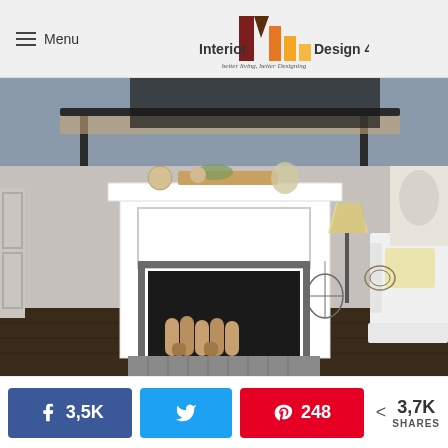Menu | Interior Design 4 — better living, better Designing
[Figure (photo): Interior living room photo showing a white fireplace mantel with decorative items on top, logs stacked inside, a birdcage beside it, a white slipcovered chair, and a metal coffee table above. The room has dark hardwood floors and gray walls.]
3,5K  [Facebook share]  [Twitter share]  248 [Pinterest]  < 3,7K SHARES